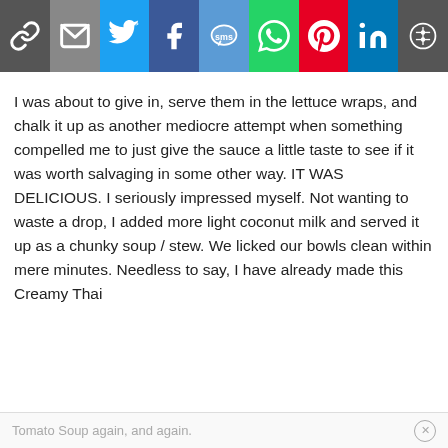[Figure (screenshot): Social sharing toolbar with icons: link, email, Twitter, Facebook, SMS, WhatsApp, Pinterest, LinkedIn, and More options]
I was about to give in, serve them in the lettuce wraps, and chalk it up as another mediocre attempt when something compelled me to just give the sauce a little taste to see if it was worth salvaging in some other way. IT WAS DELICIOUS. I seriously impressed myself. Not wanting to waste a drop, I added more light coconut milk and served it up as a chunky soup / stew. We licked our bowls clean within mere minutes. Needless to say, I have already made this Creamy Thai
Tomato Soup again, and again.